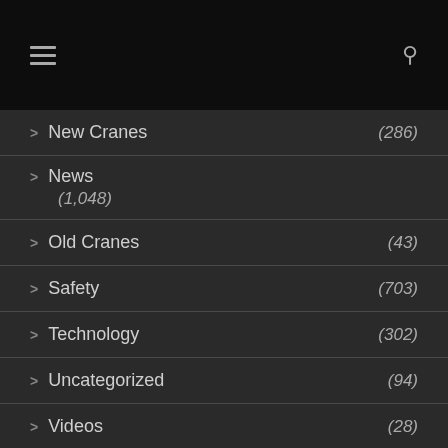Navigation menu with hamburger icon and search icon
> New Cranes (286)
> News (1,048)
> Old Cranes (43)
> Safety (703)
> Technology (302)
> Uncategorized (94)
> Videos (28)